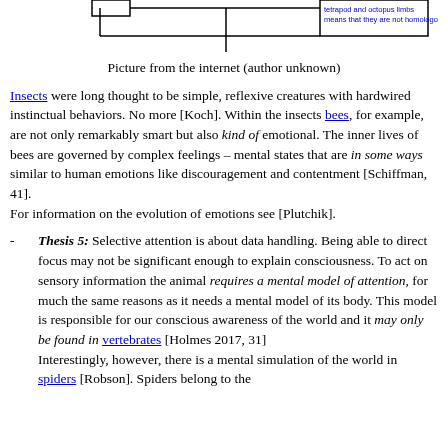[Figure (other): Partial phylogenetic/cladogram diagram showing boxes and lines, cropped at top. Text visible: 'tetrapod and octopus limbs means that they are not homologous.']
Picture from the internet (author unknown)
Insects were long thought to be simple, reflexive creatures with hardwired instinctual behaviors. No more [Koch]. Within the insects bees, for example, are not only remarkably smart but also kind of emotional. The inner lives of bees are governed by complex feelings – mental states that are in some ways similar to human emotions like discouragement and contentment [Schiffman, 41].
For information on the evolution of emotions see [Plutchik].
Thesis 5: Selective attention is about data handling. Being able to direct focus may not be significant enough to explain consciousness. To act on sensory information the animal requires a mental model of attention, for much the same reasons as it needs a mental model of its body. This model is responsible for our conscious awareness of the world and it may only be found in vertebrates [Holmes 2017, 31]
Interestingly, however, there is a mental simulation of the world in spiders [Robson]. Spiders belong to the